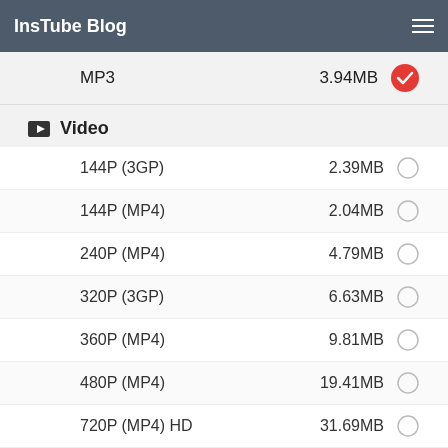InsTube Blog
MP3  3.94MB (selected)
Video
144P (3GP)  2.39MB
144P (MP4)  2.04MB
240P (MP4)  4.79MB
320P (3GP)  6.63MB
360P (MP4)  9.81MB
480P (MP4)  19.41MB
720P (MP4) HD  31.69MB
⚡ Fast Download
The download speed of InsTube is 10x faster its alternative apps. Thus, the Premam songs can be downloaded in a second